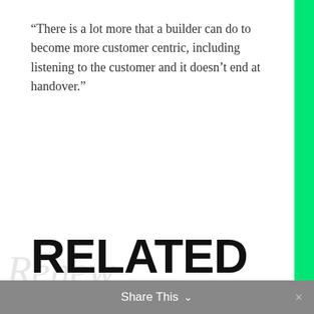“There is a lot more that a builder can do to become more customer centric, including listening to the customer and it doesn’t end at handover.”
RELATED ARTICLES
Share This ⌄  ×